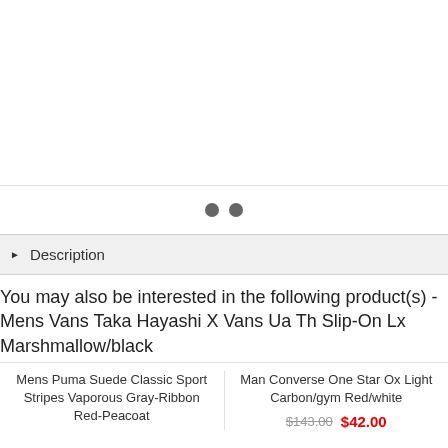[Figure (photo): Product image area (blank/white)]
[Figure (infographic): Two gray dot navigation indicators]
▶ Description
You may also be interested in the following product(s) - Mens Vans Taka Hayashi X Vans Ua Th Slip-On Lx Marshmallow/black
Mens Puma Suede Classic Sport Stripes Vaporous Gray-Ribbon Red-Peacoat
Man Converse One Star Ox Light Carbon/gym Red/white
$143.00  $42.00